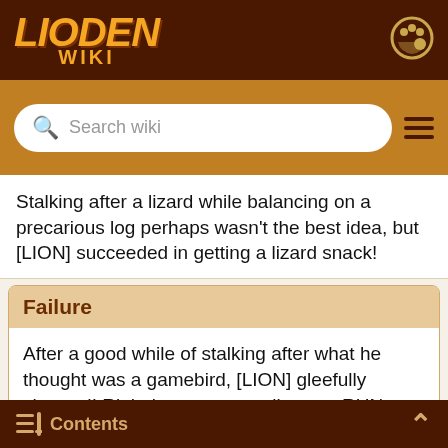Lioden Wiki
Stalking after a lizard while balancing on a precarious log perhaps wasn't the best idea, but [LION] succeeded in getting a lizard snack!
Failure
After a good while of stalking after what he thought was a gamebird, [LION] gleefully charged! Right into a grumpy lioness. RUN AWAY!
Candid
Success
[LION] took a moment to size up the terrain
Contents